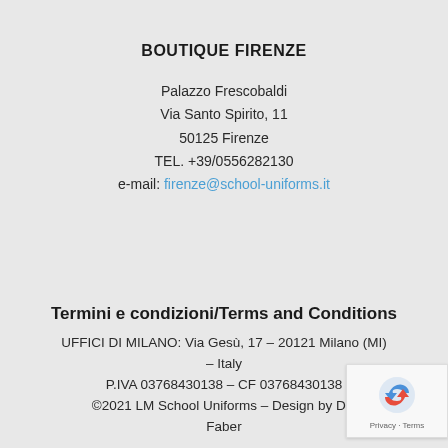BOUTIQUE FIRENZE
Palazzo Frescobaldi
Via Santo Spirito, 11
50125 Firenze
TEL. +39/0556282130
e-mail: firenze@school-uniforms.it
Termini e condizioni/Terms and Conditions
UFFICI DI MILANO: Via Gesù, 17 – 20121 Milano (MI) – Italy
P.IVA 03768430138 – CF 03768430138
©2021 LM School Uniforms – Design by Dig Faber